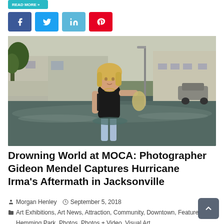[Figure (other): Small cyan pill/button at top, partially cropped]
[Figure (other): Social share buttons row: Facebook (blue), Twitter (light blue), LinkedIn (teal), Pinterest (red)]
[Figure (photo): Photograph of a blonde woman in a black t-shirt and denim shorts standing in flood water, carrying a black purse and a plastic bag, with flooded street and parked cars visible in background. Hurricane Irma aftermath in Jacksonville.]
Drowning World at MOCA: Photographer Gideon Mendel Captures Hurricane Irma’s Aftermath in Jacksonville
Morgan Henley   September 5, 2018
Art Exhibitions, Art News, Attraction, Community, Downtown, Feature, Hemming Park, Photos, Photos + Video, Visual Art